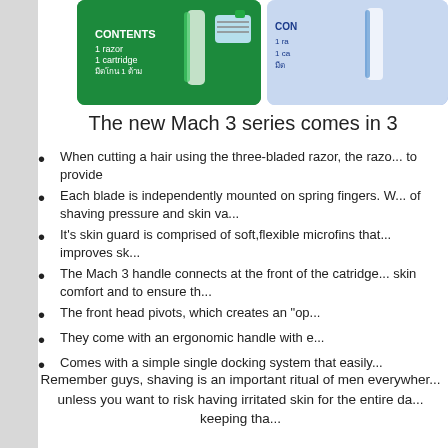[Figure (photo): Product packaging image of Gillette Mach 3 razor with green background showing CONTENTS label]
[Figure (photo): Partial product packaging image on the right side, blue/white background]
The new Mach 3 series comes in 3
When cutting a hair using the three-bladed razor, the razo... to provide
Each blade is independently mounted on spring fingers. W... of shaving pressure and skin va...
It's skin guard is comprised of soft,flexible microfins that... improves sk...
The Mach 3 handle connects at the front of the catridge... skin comfort and to ensure th...
The front head pivots, which creates an "op...
They come with an ergonomic handle with e...
Comes with a simple single docking system that easily...
Remember guys, shaving is an important ritual of men everywher... unless you want to risk having irritated skin for the entire da... keeping tha...